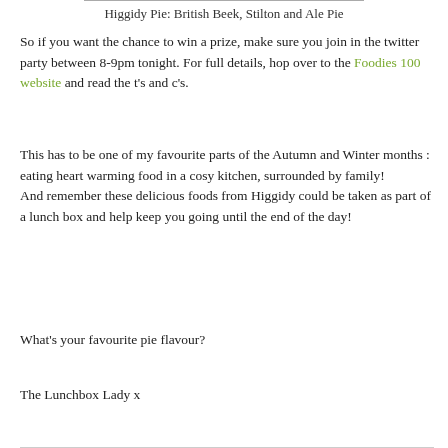Higgidy Pie: British Beek, Stilton and Ale Pie
So if you want the chance to win a prize, make sure you join in the twitter party between 8-9pm tonight. For full details, hop over to the Foodies 100 website and read the t's and c's.
This has to be one of my favourite parts of the Autumn and Winter months : eating heart warming food in a cosy kitchen, surrounded by family!
And remember these delicious foods from Higgidy could be taken as part of a lunch box and help keep you going until the end of the day!
What's your favourite pie flavour?
The Lunchbox Lady x